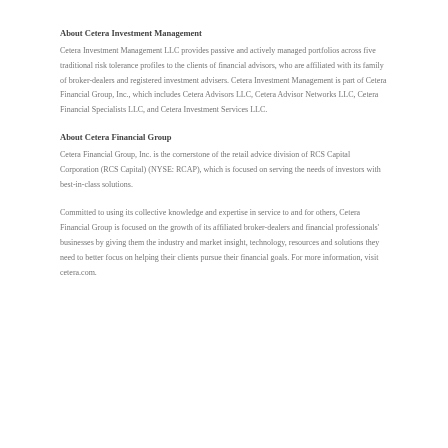About Cetera Investment Management
Cetera Investment Management LLC provides passive and actively managed portfolios across five traditional risk tolerance profiles to the clients of financial advisors, who are affiliated with its family of broker-dealers and registered investment advisers. Cetera Investment Management is part of Cetera Financial Group, Inc., which includes Cetera Advisors LLC, Cetera Advisor Networks LLC, Cetera Financial Specialists LLC, and Cetera Investment Services LLC.
About Cetera Financial Group
Cetera Financial Group, Inc. is the cornerstone of the retail advice division of RCS Capital Corporation (RCS Capital) (NYSE: RCAP), which is focused on serving the needs of investors with best-in-class solutions.
Committed to using its collective knowledge and expertise in service to and for others, Cetera Financial Group is focused on the growth of its affiliated broker-dealers and financial professionals' businesses by giving them the industry and market insight, technology, resources and solutions they need to better focus on helping their clients pursue their financial goals. For more information, visit cetera.com.